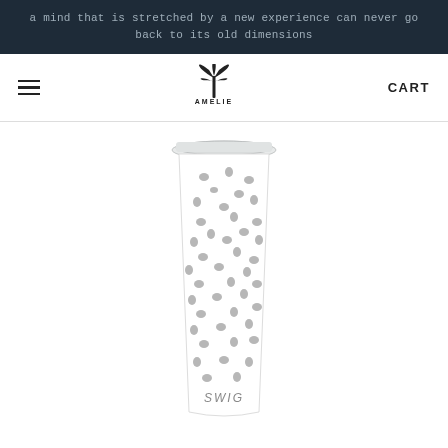a mind that is stretched by a new experience can never go back to its old dimensions
[Figure (screenshot): Navigation bar with hamburger menu on left, AMELIE logo (palm tree) in center, CART text on right]
[Figure (photo): A tall white tumbler with grey spotted/dalmatian print pattern and a clear lid, branded 'SWIG' at the bottom]